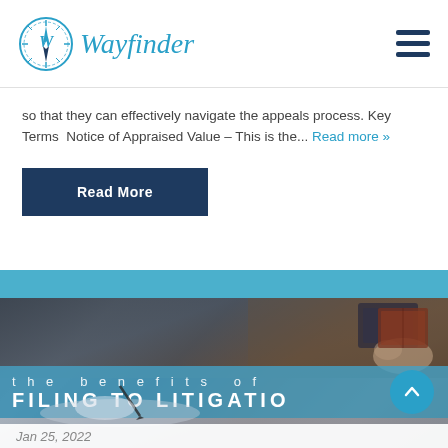[Figure (logo): Wayfinder compass logo with stylized W and compass rose in teal/blue, with italic serif 'Wayfinder' text beside it]
[Figure (illustration): Hamburger menu icon (three horizontal dark navy bars)]
so that they can effectively navigate the appeals process. Key Terms  Notice of Appraised Value – This is the... Read more »
Read More
[Figure (photo): Business/legal photo collage showing hands signing documents, person holding documents, with overlay text 'the benefits of FILING TO LITIGATIO' on a teal banner]
Jan 25, 2022